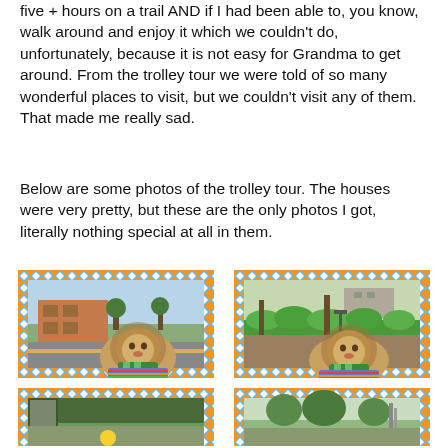five + hours on a trail AND if I had been able to, you know, walk around and enjoy it which we couldn't do, unfortunately, because it is not easy for Grandma to get around. From the trolley tour we were told of so many wonderful places to visit, but we couldn't visit any of them. That made me really sad.
Below are some photos of the trolley tour. The houses were very pretty, but these are the only photos I got, literally nothing special at all in them.
[Figure (photo): Photo of a stuffed animal hedgehog/lion toy in foreground with a brick building and road visible through a trolley window, framed with colorful diamond/argyle border pattern in blue, orange and white]
[Figure (photo): Photo of a stuffed animal hedgehog/lion toy in foreground with green bushes, trees, and park scenery visible through a trolley window, framed with colorful diamond/argyle border pattern in blue, orange and white]
[Figure (photo): Partial photo at bottom left showing greenery and buildings through trolley window, framed with colorful diamond/argyle border pattern in blue, orange and white]
[Figure (photo): Partial photo at bottom right showing trees and structures through trolley window, framed with colorful diamond/argyle border pattern in blue, orange and white]